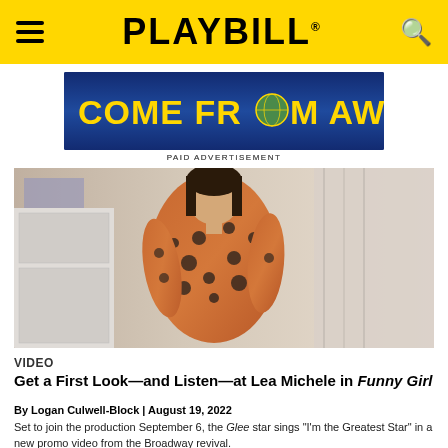PLAYBILL
[Figure (photo): Come From Away musical advertisement banner with yellow text on dark blue background]
PAID ADVERTISEMENT
[Figure (photo): Lea Michele in an orange floral dress posing in an interior setting]
VIDEO
Get a First Look—and Listen—at Lea Michele in Funny Girl
By Logan Culwell-Block | August 19, 2022
Set to join the production September 6, the Glee star sings "I'm the Greatest Star" in a new promo video from the Broadway revival.